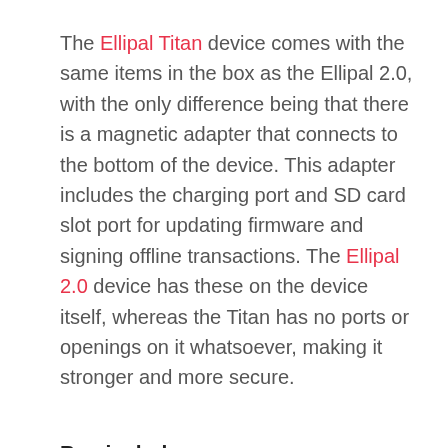The Ellipal Titan device comes with the same items in the box as the Ellipal 2.0, with the only difference being that there is a magnetic adapter that connects to the bottom of the device. This adapter includes the charging port and SD card slot port for updating firmware and signing offline transactions. The Ellipal 2.0 device has these on the device itself, whereas the Titan has no ports or openings on it whatsoever, making it stronger and more secure.
Box includes:
ELLIPAL Titan Cold Wallet